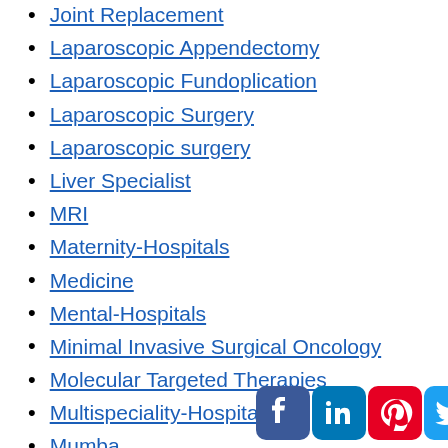Joint Replacement
Laparoscopic Appendectomy
Laparoscopic Fundoplication
Laparoscopic Surgery
Laparoscopic surgery
Liver Specialist
MRI
Maternity-Hospitals
Medicine
Mental-Hospitals
Minimal Invasive Surgical Oncology
Molecular Targeted Therapies
Multispeciality-Hospitals
Mumbai